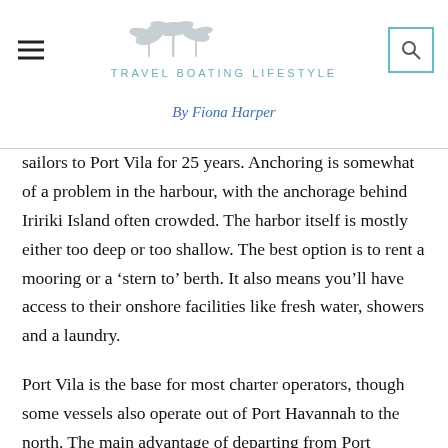TRAVEL BOATING LIFESTYLE
By Fiona Harper
sailors to Port Vila for 25 years. Anchoring is somewhat of a problem in the harbour, with the anchorage behind Iririki Island often crowded. The harbor itself is mostly either too deep or too shallow. The best option is to rent a mooring or a ‘stern to’ berth. It also means you’ll have access to their onshore facilities like fresh water, showers and a laundry.
Port Vila is the base for most charter operators, though some vessels also operate out of Port Havannah to the north. The main advantage of departing from Port Havannah is the close proximity of good cruising, diving and snorkeling sites around Hat, Lelepa and Moso Islands.
The islands of Vanuatu are grouped roughly into three